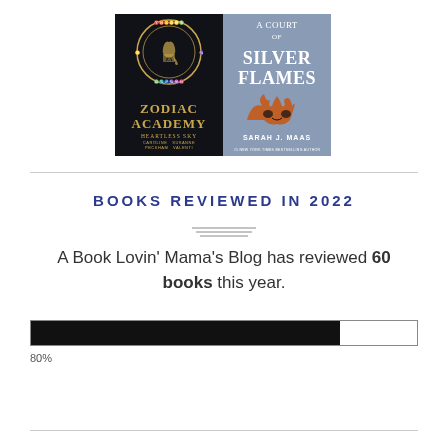[Figure (illustration): Two book covers side by side: Zodiac Academy Heartless Sky (dark cover with gold zodiac circle and text) and A Court of Silver Flames by Sarah J. Maas (grey cover with orange flame mask illustration)]
BOOKS REVIEWED IN 2022
A Book Lovin' Mama's Blog has reviewed 60 books this year.
[Figure (infographic): Horizontal progress bar filled approximately 80% black, showing 80% completion]
80%